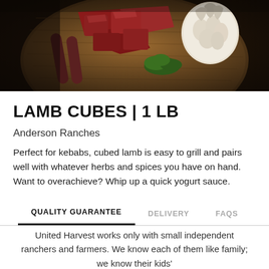[Figure (photo): Overhead photo of raw lamb cubes and other cuts of raw meat on a wooden cutting board, with a head of garlic and fresh herbs visible.]
LAMB CUBES | 1 LB
Anderson Ranches
Perfect for kebabs, cubed lamb is easy to grill and pairs well with whatever herbs and spices you have on hand. Want to overachieve? Whip up a quick yogurt sauce.
QUALITY GUARANTEE
DELIVERY
FAQS
United Harvest works only with small independent ranchers and farmers. We know each of them like family; we know their kids'